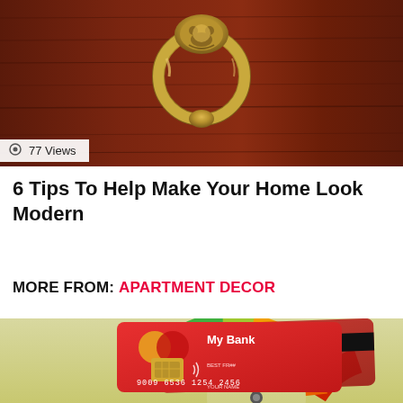[Figure (photo): Close-up of a brass ornate door knocker on a dark reddish-brown wooden door]
👁 77 Views
6 Tips To Help Make Your Home Look Modern
MORE FROM: APARTMENT DECOR
[Figure (illustration): Illustration showing a credit score gauge/speedometer with green, yellow, orange and red sections, and a red bank credit card labeled 'My Bank' with number 9009 6536 1254 2456 and a secondary card behind it]